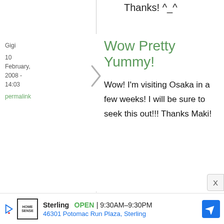Thanks! ^_^
Gigi
10 February, 2008 - 14:03
permalink
Wow Pretty Yummy!
Wow! I'm visiting Osaka in a few weeks! I will be sure to seek this out!!! Thanks Maki!
Sterling OPEN 9:30AM–9:30PM 46301 Potomac Run Plaza, Sterling